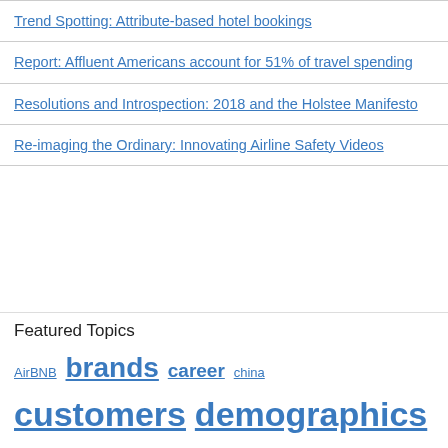Trend Spotting: Attribute-based hotel bookings
Report: Affluent Americans account for 51% of travel spending
Resolutions and Introspection: 2018 and the Holstee Manifesto
Re-imaging the Ordinary: Innovating Airline Safety Videos
Featured Topics
AirBNB  brands  career  china  customers  demographics  email